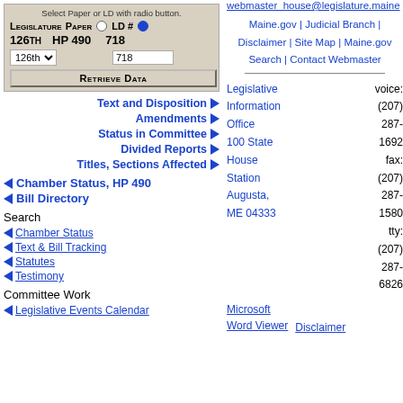Select Paper or LD with radio button.
| Legislature | Paper |  | LD # |  |
| --- | --- | --- | --- | --- |
| 126th | HP 490 |  | 718 |  |
Retrieve Data
Text and Disposition ▶
Amendments ▶
Status in Committee ▶
Divided Reports ▶
Titles, Sections Affected ▶
◀ Chamber Status, HP 490
◀ Bill Directory
Search
◀ Chamber Status
◀ Text & Bill Tracking
◀ Statutes
◀ Testimony
Committee Work
◀ Legislative Events Calendar
webmaster_house@legislature.maine
Maine.gov | Judicial Branch | Disclaimer | Site Map | Maine.gov Search | Contact Webmaster
Legislative Information Office
100 State House Station
Augusta, ME 04333
voice: (207) 287-1692
fax: (207) 287-1580
tty: (207) 287-6826
Microsoft Word Viewer
Disclaimer